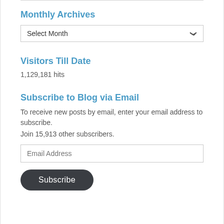Monthly Archives
Select Month
Visitors Till Date
1,129,181 hits
Subscribe to Blog via Email
To receive new posts by email, enter your email address to subscribe.
Join 15,913 other subscribers.
Email Address
Subscribe